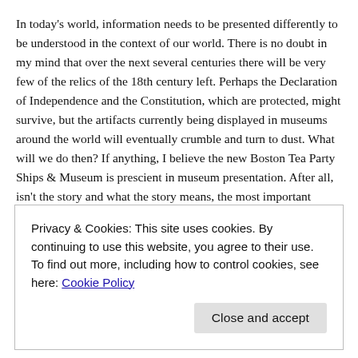In today's world, information needs to be presented differently to be understood in the context of our world. There is no doubt in my mind that over the next several centuries there will be very few of the relics of the 18th century left. Perhaps the Declaration of Independence and the Constitution, which are protected, might survive, but the artifacts currently being displayed in museums around the world will eventually crumble and turn to dust. What will we do then? If anything, I believe the new Boston Tea Party Ships & Museum is prescient in museum presentation. After all, isn't the story and what the story means, the most important message? Our story is, of course, that of man's willingness to sacrifice for freedom and it is a message that resonates today literally all over the world. I am quite confident that the majority of people leave
Privacy & Cookies: This site uses cookies. By continuing to use this website, you agree to their use.
To find out more, including how to control cookies, see here: Cookie Policy
Close and accept